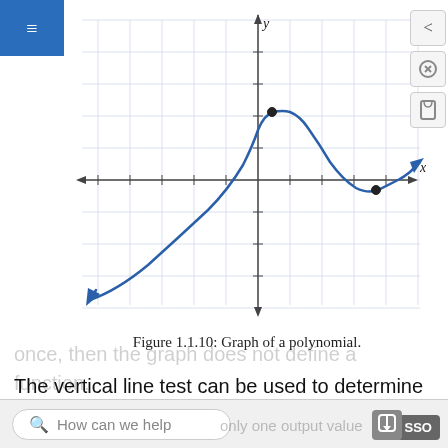[Figure (continuous-plot): Graph of a polynomial function on an x-y coordinate plane with grid lines. The curve comes from the lower-left with an arrow, rises to a local maximum near the y-axis (filled dot), descends to a local minimum to the right (filled dot), then rises again with an arrow toward the upper-right. Axes are labeled x and y.]
Figure 1.1.10: Graph of a polynomial.
The vertical line test can be used to determine whether a graph represents a function. If we can draw any vertical line that intersects a graph more than